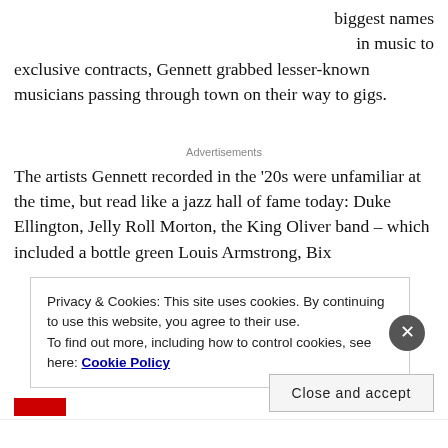biggest names in music to exclusive contracts, Gennett grabbed lesser-known musicians passing through town on their way to gigs.
Advertisements
The artists Gennett recorded in the '20s were unfamiliar at the time, but read like a jazz hall of fame today: Duke Ellington, Jelly Roll Morton, the King Oliver band – which included a bottle green Louis Armstrong, Bix
Privacy & Cookies: This site uses cookies. By continuing to use this website, you agree to their use.
To find out more, including how to control cookies, see here: Cookie Policy
Close and accept